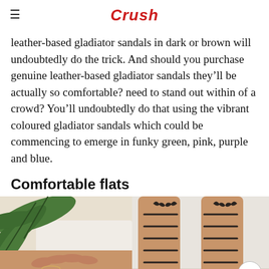Crush
leather-based gladiator sandals in dark or brown will undoubtedly do the trick. And should you purchase genuine leather-based gladiator sandals they'll be actually so comfortable? need to stand out within of a crowd? You'll undoubtedly do that using the vibrant coloured gladiator sandals which could be commencing to emerge in funky green, pink, purple and blue.
Comfortable flats
[Figure (photo): Two photos side by side: left shows a woman's hand resting on white fabric near a palm leaf; right shows close-up of lace-up strappy heeled sandals on legs. A circular scroll-up button is visible on the right photo. A red bar appears at the bottom of the page.]